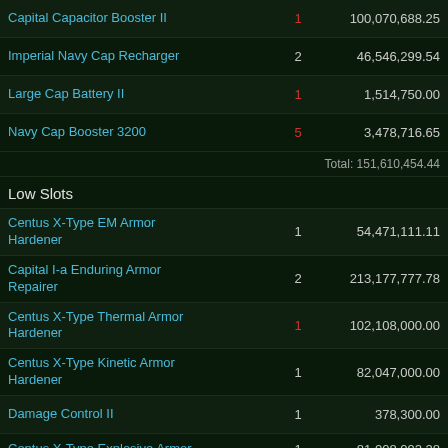Capital Capacitor Booster II | 1 | 100,070,688.25
Imperial Navy Cap Recharger | 2 | 46,546,299.54
Large Cap Battery II | 1 | 1,514,750.00
Navy Cap Booster 3200 | 5 | 3,478,716.65
Total: 151,610,454.44
Low Slots
Centus X-Type EM Armor Hardener | 1 | 54,471,111.11
Capital I-a Enduring Armor Repairer | 2 | 213,177,777.78
Centus X-Type Thermal Armor Hardener | 1 | 102,108,000.00
Centus X-Type Kinetic Armor Hardener | 1 | 82,047,000.00
Damage Control II | 1 | 378,300.00
Centus X-Type Explosive Armor | 1 | 81,008,092.28